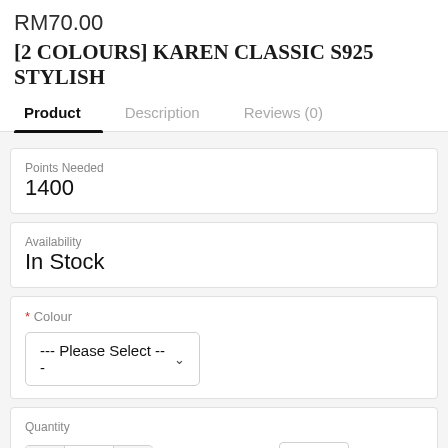RM70.00
[2 COLOURS] KAREN CLASSIC S925 STYLISH
Product | Description | Reviews (0)
| Field | Value |
| --- | --- |
| Points Needed | 1400 |
| Availability | In Stock |
| Colour | --- Please Select --- |
| Quantity | 1 |